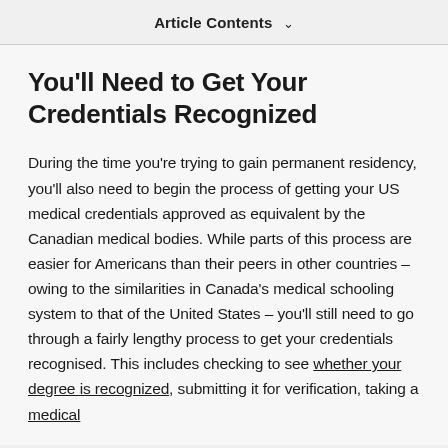Article Contents ∨
You'll Need to Get Your Credentials Recognized
During the time you're trying to gain permanent residency, you'll also need to begin the process of getting your US medical credentials approved as equivalent by the Canadian medical bodies. While parts of this process are easier for Americans than their peers in other countries – owing to the similarities in Canada's medical schooling system to that of the United States – you'll still need to go through a fairly lengthy process to get your credentials recognised. This includes checking to see whether your degree is recognized, submitting it for verification, taking a medical